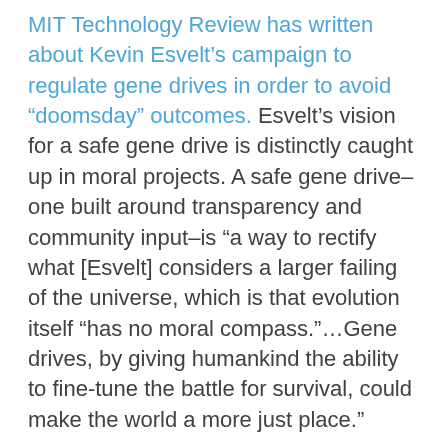MIT Technology Review has written about Kevin Esvelt&rsquo;s campaign to regulate gene drives in order to avoid “doomsday&rdquo; outcomes. Esvelt&rsquo;s vision for a safe gene drive is distinctly&nbsp;caught up in moral projects. A safe gene drive&ndash;one built around&nbsp;transparency and community input&ndash;is “a way to rectify what [Esvelt] considers a larger failing of the universe, which is that evolution itself “has no moral compass.&rdquo;&hellip;Gene drives, by giving humankind the ability to fine-tune the battle for survival, could make the world a more just place.&rdquo;